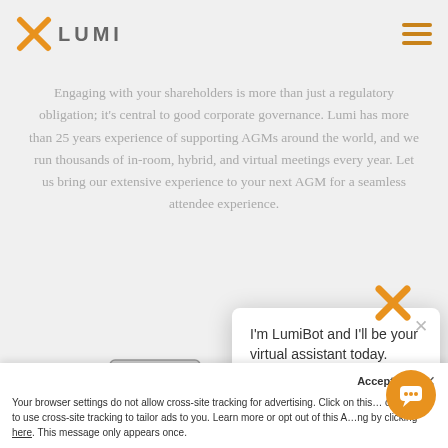[Figure (logo): Lumi logo with orange X mark and LUMI text]
[Figure (other): Hamburger menu icon with three orange horizontal lines]
Engaging with your shareholders is more than just a regulatory obligation; it's central to good corporate governance. Lumi has more than 25 years experience of supporting AGMs around the world, and we run thousands of in-room, hybrid, and virtual meetings every year. Let us bring our extensive experience to your next AGM for a seamless attendee experience.
[Figure (photo): Photo of tablet and BlackBerry mobile device]
Engaging with your share... obligation; it's central to g... more than 25 years exper... world, and we run thou... meetings every year. Let us bring our extensive experience to your
[Figure (other): LumiBot chat popup with orange X icon above. Shows text: I'm LumiBot and I'll be your virtual assistant today. A team member is only a click away but I should be able to help.]
Accept a... x
Your browser settings do not allow cross-site tracking for advertising. Click on this... ow AdRoll to use cross-site tracking to tailor ads to you. Learn more or opt out of this A...ng by clicking here. This message only appears once.